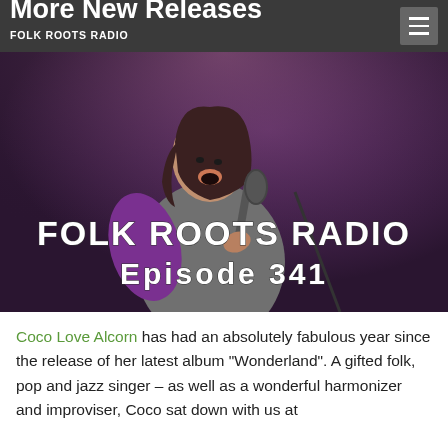More New Releases | FOLK ROOTS RADIO
[Figure (photo): A singer performing on stage with a microphone, mouth open singing passionately, with purple stage lighting. Text overlay reads 'FOLK ROOTS RADIO Episode 341' in white letters.]
Coco Love Alcorn has had an absolutely fabulous year since the release of her latest album “Wonderland”. A gifted folk, pop and jazz singer – as well as a wonderful harmonizer and improviser, Coco sat down with us at